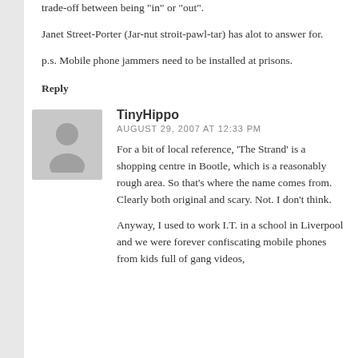trade-off between being "in" or "out".
Janet Street-Porter (Jar-nut stroit-pawl-tar) has alot to answer for.
p.s. Mobile phone jammers need to be installed at prisons.
Reply
[Figure (illustration): Grey avatar/silhouette placeholder icon]
TinyHippo
AUGUST 29, 2007 AT 12:33 PM
For a bit of local reference, ‘The Strand’ is a shopping centre in Bootle, which is a reasonably rough area. So that's where the name comes from. Clearly both original and scary. Not. I don’t think.
Anyway, I used to work I.T. in a school in Liverpool and we were forever confiscating mobile phones from kids full of gang videos,